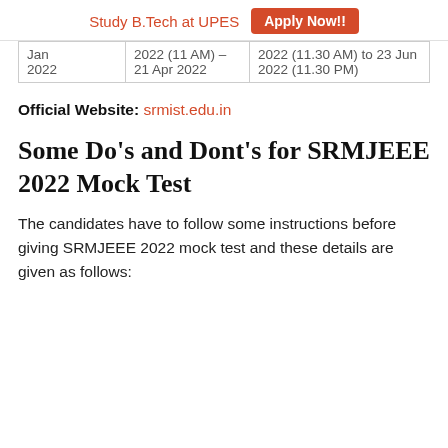Study B.Tech at UPES   Apply Now!!
| Jan
2022 | 2022 (11 AM) – 21 Apr 2022 | 2022 (11.30 AM) to 23 Jun 2022 (11.30 PM) |
Official Website: srmist.edu.in
Some Do's and Dont's for SRMJEEE 2022 Mock Test
The candidates have to follow some instructions before giving SRMJEEE 2022 mock test and these details are given as follows: